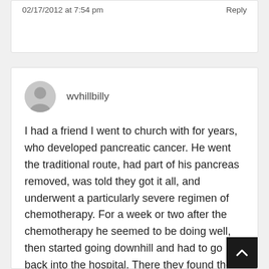02/17/2012 at 7:54 pm
Reply
wvhillbilly
I had a friend I went to church with for years, who developed pancreatic cancer. He went the traditional route, had part of his pancreas removed, was told they got it all, and underwent a particularly severe regimen of chemotherapy. For a week or two after the chemotherapy he seemed to be doing well, then started going downhill and had to go back into the hospital. There they found the cancer